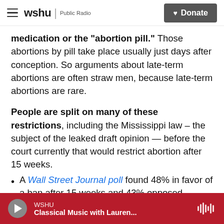WSHU Public Radio | Donate
medication or the "abortion pill." Those abortions by pill take place usually just days after conception. So arguments about late-term abortions are often straw men, because late-term abortions are rare.
People are split on many of these restrictions, including the Mississippi law – the subject of the leaked draft opinion — before the court currently that would restrict abortion after 15 weeks.
A Wall Street Journal poll found 48% in favor of a ban after 15 weeks and 43% opposed.
An ABC poll, in contrast, found 57% opposed to a
WSHU | Classical Music with Lauren...